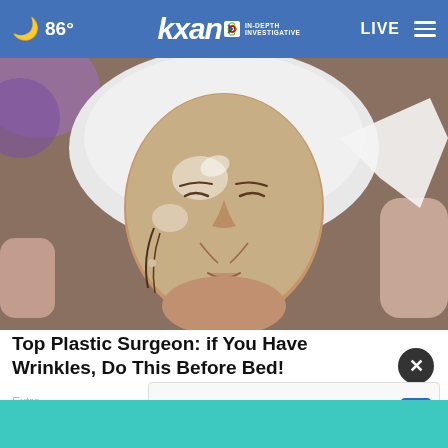86° kxan IN-DEPTH INVESTIGATIVE LIVE
[Figure (photo): Woman lying down with a clear gel/plastic face mask being removed, head wrapped in white towel, spa or medical treatment setting]
Top Plastic Surgeon: if You Have Wrinkles, Do This Before Bed!
Extre
McAlister's On-The-Go
McAlister's Deli